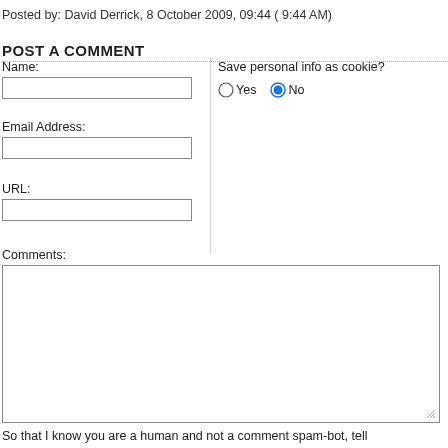Posted by: David Derrick, 8 October 2009, 09:44 ( 9:44 AM)
POST A COMMENT
Name:
Save personal info as cookie?
Yes  No
Email Address:
URL:
Comments:
So that I know you are a human and not a comment spam-bot, tell me in what city the Red Sox play (required):